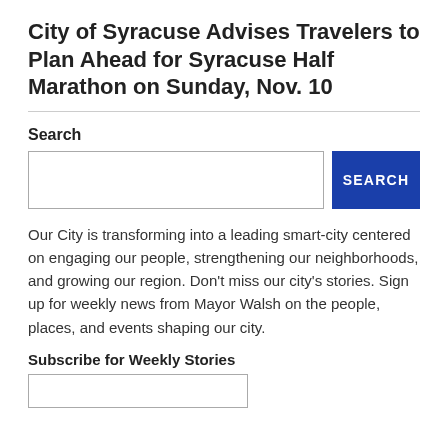City of Syracuse Advises Travelers to Plan Ahead for Syracuse Half Marathon on Sunday, Nov. 10
Our City is transforming into a leading smart-city centered on engaging our people, strengthening our neighborhoods, and growing our region. Don't miss our city's stories. Sign up for weekly news from Mayor Walsh on the people, places, and events shaping our city.
Subscribe for Weekly Stories